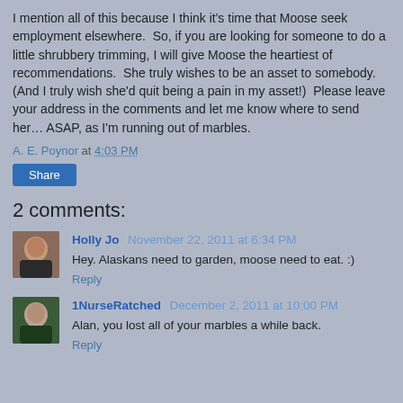I mention all of this because I think it's time that Moose seek employment elsewhere.  So, if you are looking for someone to do a little shrubbery trimming, I will give Moose the heartiest of recommendations.  She truly wishes to be an asset to somebody.  (And I truly wish she'd quit being a pain in my asset!)  Please leave your address in the comments and let me know where to send her… ASAP, as I'm running out of marbles.
A. E. Poynor at 4:03 PM
Share
2 comments:
Holly Jo November 22, 2011 at 6:34 PM
Hey. Alaskans need to garden, moose need to eat. :)
Reply
1NurseRatched December 2, 2011 at 10:00 PM
Alan, you lost all of your marbles a while back.
Reply